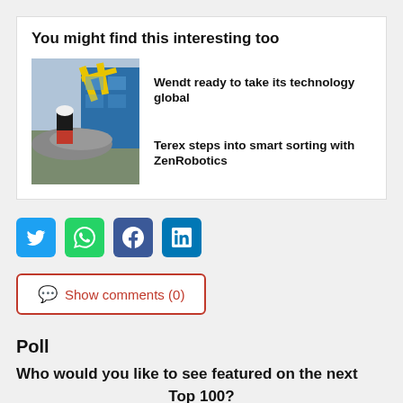You might find this interesting too
[Figure (photo): Industrial recycling facility with worker in hard hat viewing machinery]
Wendt ready to take its technology global
Terex steps into smart sorting with ZenRobotics
[Figure (infographic): Social sharing buttons: Twitter, WhatsApp, Facebook, LinkedIn]
Show comments (0)
Poll
Who would you like to see featured on the next Top 100?